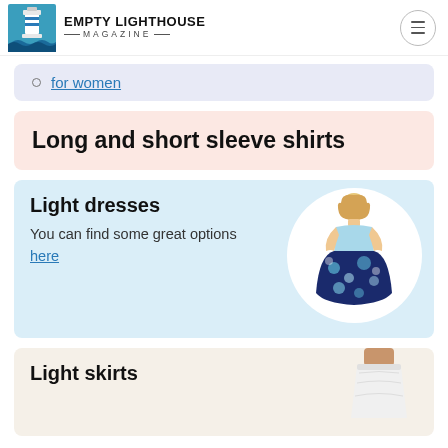EMPTY LIGHTHOUSE MAGAZINE
for women
Long and short sleeve shirts
Light dresses
You can find some great options here
[Figure (photo): Woman in a light blue and navy floral maxi dress]
Light skirts
[Figure (photo): Woman torso wearing a white light skirt]